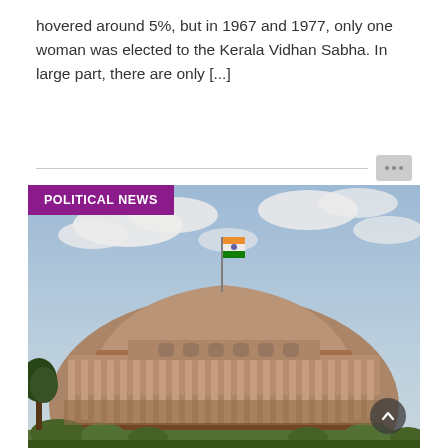hovered around 5%, but in 1967 and 1977, only one woman was elected to the Kerala Vidhan Sabha. In large part, there are only [...]
[Figure (photo): Photograph of the Indian Parliament building (Sansad Bhavan) shot from a low angle, showing the circular colonnaded facade with the Indian national flag flying on top, against a partly cloudy sky. Green shrubbery visible at the bottom.]